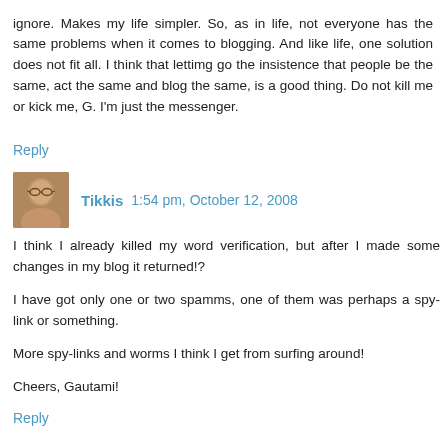ignore. Makes my life simpler. So, as in life, not everyone has the same problems when it comes to blogging. And like life, one solution does not fit all. I think that lettimg go the insistence that people be the same, act the same and blog the same, is a good thing. Do not kill me or kick me, G. I'm just the messenger.
Reply
Tikkis  1:54 pm, October 12, 2008
I think I already killed my word verification, but after I made some changes in my blog it returned!?
I have got only one or two spamms, one of them was perhaps a spy-link or something.
More spy-links and worms I think I get from surfing around!
Cheers, Gautami!
Reply